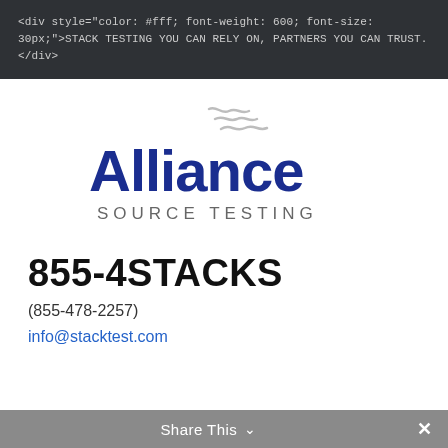<div style="color: #fff; font-weight: 600; font-size: 30px;">STACK TESTING YOU CAN RELY ON, PARTNERS YOU CAN TRUST.</div>
[Figure (logo): Alliance Source Testing logo with stylized wave lines above 'Alliance' in bold blue text and 'SOURCE TESTING' in gray spaced caps below]
855-4STACKS
(855-478-2257)
info@stacktest.com
Share This ∨ ✕